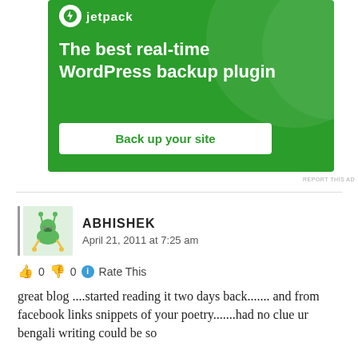[Figure (screenshot): Jetpack WordPress plugin advertisement banner. Green background with white bold text reading 'The best real-time WordPress backup plugin' and a white button labeled 'Back up your site'. Jetpack logo at top left.]
REPORT THIS AD
ABHISHEK
April 21, 2011 at 7:25 am
0  0  Rate This
great blog ....started reading it two days back....... and from facebook links snippets of your poetry.......had no clue ur bengali writing could be so